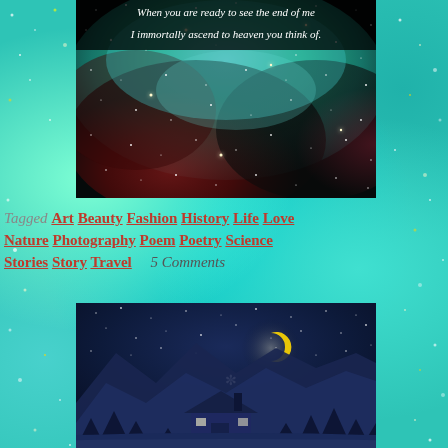[Figure (photo): Galaxy/nebula space photo with teal and dark red cosmic clouds and stars, overlaid with italic white text: 'When you are ready to see the end of me / I immortally ascend to heaven you think of.']
Tagged Art Beauty Fashion History Life Love Nature Photography Poem Poetry Science Stories Story Travel      5 Comments
[Figure (illustration): Night winter scene illustration with dark blue sky, stars, crescent moon, snowflake, pine trees, mountains and small lit house/cabin in foreground.]